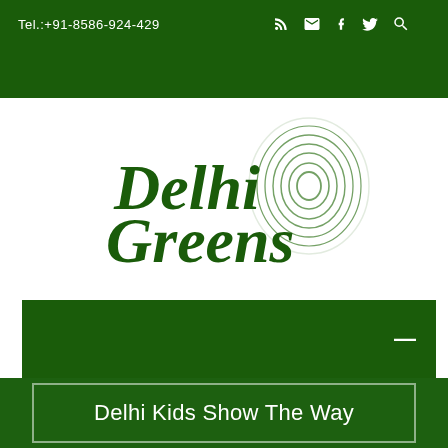Tel.:+91-8586-924-429
[Figure (logo): Delhi Greens logo with fingerprint graphic and italic bold green text 'Delhi Greens']
DONATE ♥
Delhi Kids Show The Way